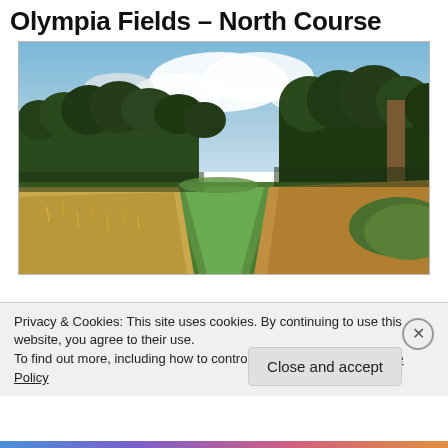Olympia Fields – North Course
[Figure (photo): Golf course fairway with tall green trees on both sides, golden rough grass in the foreground, green fairway leading to a distant green, partly cloudy sky overhead.]
Privacy & Cookies: This site uses cookies. By continuing to use this website, you agree to their use.
To find out more, including how to control cookies, see here: Cookie Policy
Close and accept